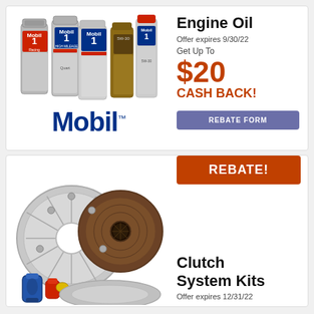[Figure (photo): Multiple Mobil 1 engine oil bottles arranged together]
Engine Oil
Offer expires 9/30/22
Get Up To
$20 CASH BACK!
[Figure (logo): Mobil logo in blue with trademark symbol]
REBATE FORM
REBATE!
[Figure (photo): Clutch system kit parts including pressure plate, disc, and flywheel]
Clutch System Kits
Offer expires 12/31/22